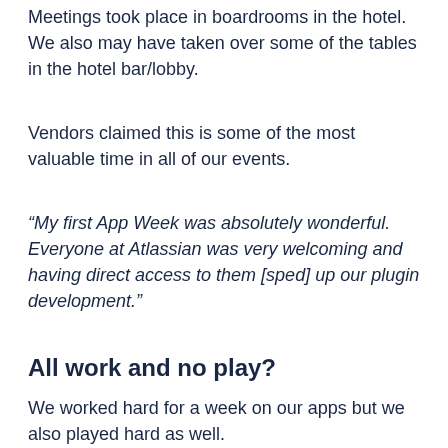Meetings took place in boardrooms in the hotel. We also may have taken over some of the tables in the hotel bar/lobby.
Vendors claimed this is some of the most valuable time in all of our events.
“My first App Week was absolutely wonderful. Everyone at Atlassian was very welcoming and having direct access to them [sped] up our plugin development.”
All work and no play?
We worked hard for a week on our apps but we also played hard as well.